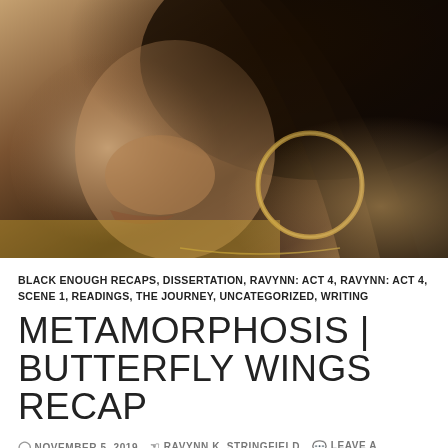[Figure (photo): Close-up side profile photo of a woman with long dark hair wearing a large gold hoop earring and a delicate gold necklace, wearing a yellow/mustard top. Background is warm and dark/moody.]
BLACK ENOUGH RECAPS, DISSERTATION, RAVYNN: ACT 4, RAVYNN: ACT 4, SCENE 1, READINGS, THE JOURNEY, UNCATEGORIZED, WRITING
METAMORPHOSIS | BUTTERFLY WINGS RECAP
NOVEMBER 5, 2019   RAVYNN K. STRINGFIELD   LEAVE A COMMENT